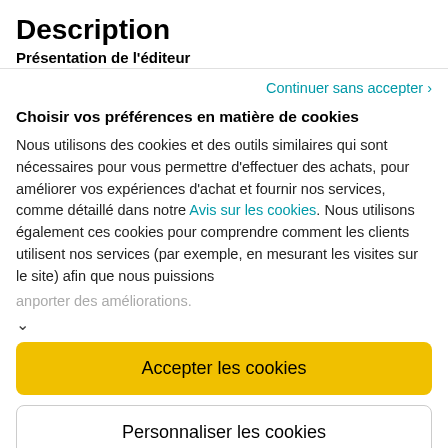Description
Présentation de l'éditeur
Continuer sans accepter ›
Choisir vos préférences en matière de cookies
Nous utilisons des cookies et des outils similaires qui sont nécessaires pour vous permettre d'effectuer des achats, pour améliorer vos expériences d'achat et fournir nos services, comme détaillé dans notre Avis sur les cookies. Nous utilisons également ces cookies pour comprendre comment les clients utilisent nos services (par exemple, en mesurant les visites sur le site) afin que nous puissions apporter des améliorations.
Accepter les cookies
Personnaliser les cookies